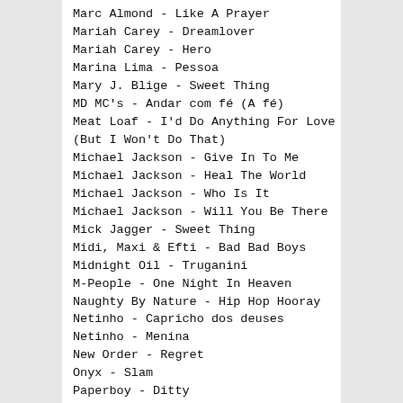Marc Almond - Like A Prayer
Mariah Carey - Dreamlover
Mariah Carey - Hero
Marina Lima - Pessoa
Mary J. Blige - Sweet Thing
MD MC's - Andar com fé (A fé)
Meat Loaf - I'd Do Anything For Love (But I Won't Do That)
Michael Jackson - Give In To Me
Michael Jackson - Heal The World
Michael Jackson - Who Is It
Michael Jackson - Will You Be There
Mick Jagger - Sweet Thing
Midi, Maxi & Efti - Bad Bad Boys
Midnight Oil - Truganini
M-People - One Night In Heaven
Naughty By Nature - Hip Hop Hooray
Netinho - Capricho dos deuses
Netinho - Menina
New Order - Regret
Onyx - Slam
Paperboy - Ditty
Paul McCartney - C'mon People
Paul McCartney - Hope Of Deliverance
Paula Ricardo & BPM - Câncer